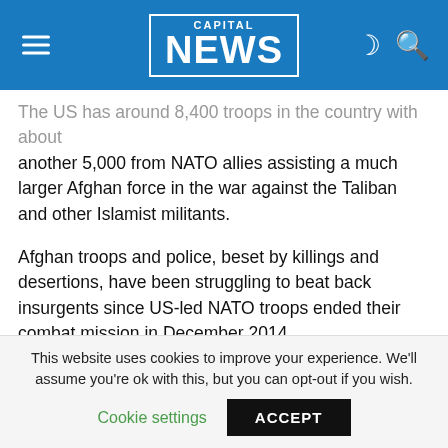CAPITAL NEWS
The US has around 8,400 troops in the country with about another 5,000 from NATO allies assisting a much larger Afghan force in the war against the Taliban and other Islamist militants.
Afghan troops and police, beset by killings and desertions, have been struggling to beat back insurgents since US-led NATO troops ended their combat mission in December 2014.
According to US watchdog SIGAR, casualties among Afghan security forces soared by 35 percent in 2016, with 6.800 soldiers and police killed.
This website uses cookies to improve your experience. We'll assume you're ok with this, but you can opt-out if you wish. Cookie settings ACCEPT